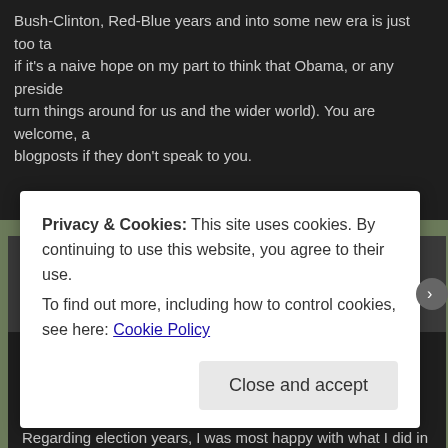Bush-Clinton, Red-Blue years and into some new era is just too ta if it's a naive hope on my part to think that Obama, or any preside turn things around for us and the wider world). You are welcome, a blogposts if they don't speak to you.
Richard S.
on January 16, 2008 at 5:15 am said:
Hi, Wayne. I certainly don't want to ignore your blog posts, though your comments section with disagreement either, I can assure you.
Regarding election years, I was most happy with what I did in 200
Privacy & Cookies: This site uses cookies. By continuing to use this website, you agree to their use.
To find out more, including how to control cookies, see here: Cookie Policy
Close and accept